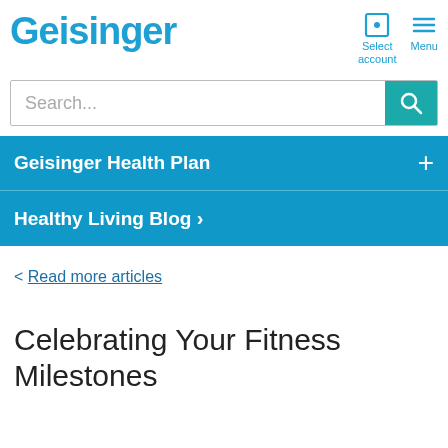Geisinger
[Figure (screenshot): Search bar with teal search button and magnifying glass icon]
Geisinger Health Plan +
Healthy Living Blog >
< Read more articles
Celebrating Your Fitness Milestones